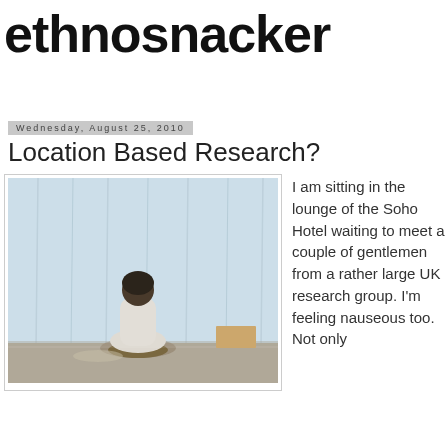ethnosnacker (with mirrored red version below)
Wednesday, August 25, 2010
Location Based Research?
[Figure (photo): Person sitting cross-legged on the floor facing a white curtain or wall, viewed from behind, in a sparse room with wooden floor.]
I am sitting in the lounge of the Soho Hotel waiting to meet a couple of gentlemen from a rather large UK research group. I'm feeling nauseous too. Not only